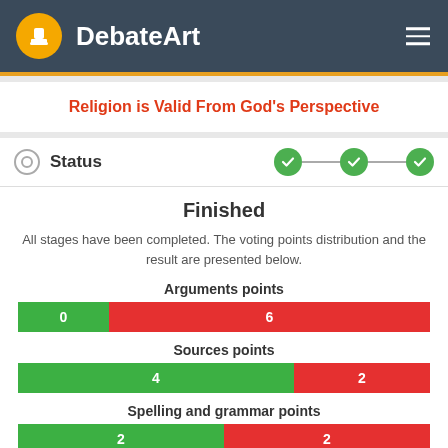DebateArt
Religion is Valid From God's Perspective
Status
Finished
All stages have been completed. The voting points distribution and the result are presented below.
Arguments points
| Green | Red |
| --- | --- |
| 0 | 6 |
Sources points
| Green | Red |
| --- | --- |
| 4 | 2 |
Spelling and grammar points
| Green | Red |
| --- | --- |
| 2 | 2 |